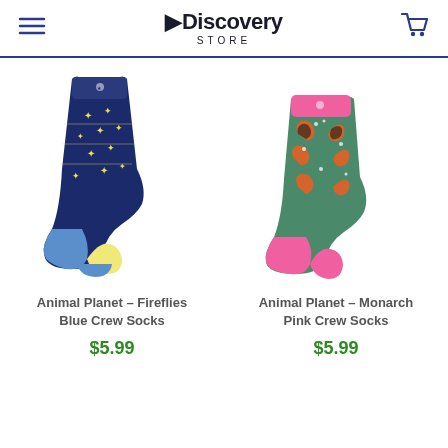Discovery Store
[Figure (photo): Animal Planet Fireflies Blue Crew Socks - navy blue sock with yellow star/lightning bug pattern and blue heel/toe]
Animal Planet – Fireflies Blue Crew Socks
$5.99
[Figure (photo): Animal Planet Monarch Pink Crew Socks - green sock with orange monarch butterfly pattern and pink heel/toe]
Animal Planet – Monarch Pink Crew Socks
$5.99